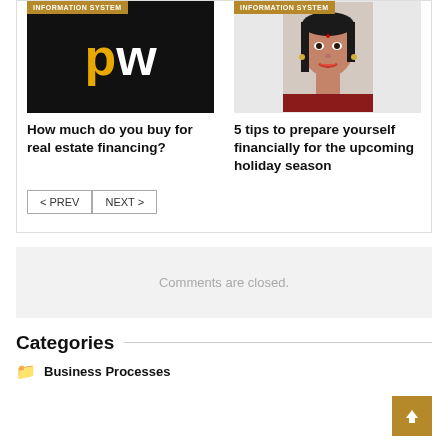[Figure (logo): PW logo - black background with yellow 'p' and white 'w' letters]
How much do you buy for real estate financing?
[Figure (photo): Photo of a smiling woman with dark hair, badge reading INFORMATION SYSTEM at top]
5 tips to prepare yourself financially for the upcoming holiday season
< PREV   NEXT >
Comments are closed.
Categories
Business Processes